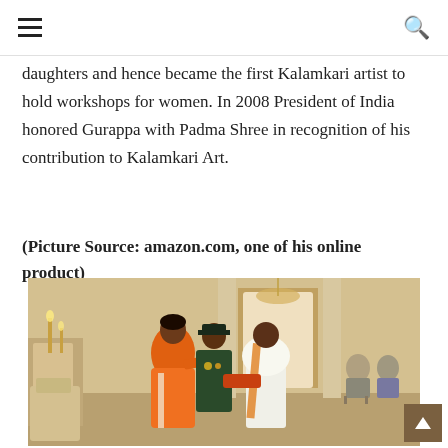daughters and hence became the first Kalamkari artist to hold workshops for women. In 2008 President of India honored Gurappa with Padma Shree in recognition of his contribution to Kalamkari Art.
(Picture Source: amazon.com, one of his online product)
[Figure (photo): A person in a white dhoti and shawl receiving an award/honor from a woman in an orange sari, with a uniformed officer standing behind, at what appears to be a formal government ceremony hall.]